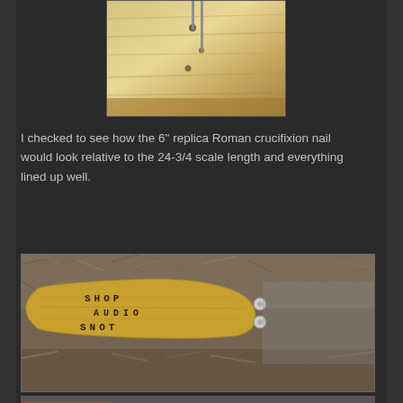[Figure (photo): Top photo showing a wooden piece (guitar body blank) with light-colored wood grain and some holes, photographed against a dark background. Partially visible at top of page.]
I checked to see how the 6" replica Roman crucifixion nail would look relative to the 24-3/4 scale length and everything lined up well.
[Figure (photo): Photo of a guitar headstock with 'SHOP AUDIO' branding text burned into the wood, lying on a shaggy carpet. The headstock is light-colored wood with dark branded lettering and visible tuning pegs.]
[Figure (photo): Partially visible photo at bottom of page, cut off.]